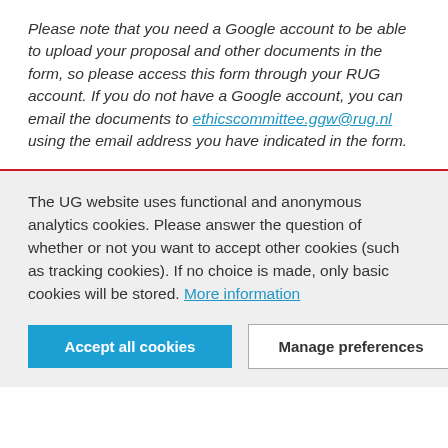Please note that you need a Google account to be able to upload your proposal and other documents in the form, so please access this form through your RUG account. If you do not have a Google account, you can email the documents to ethicscommittee.ggw@rug.nl using the email address you have indicated in the form.
The UG website uses functional and anonymous analytics cookies. Please answer the question of whether or not you want to accept other cookies (such as tracking cookies). If no choice is made, only basic cookies will be stored. More information